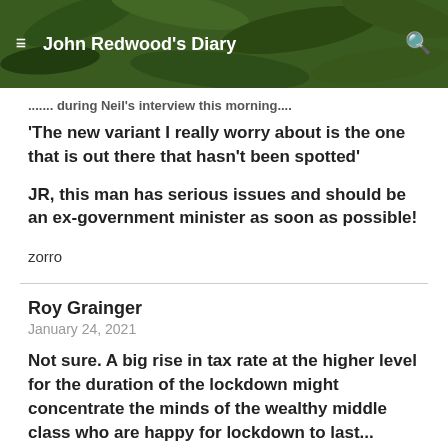John Redwood's Diary
'The new variant I really worry about is the one that is out there that hasn't been spotted'
JR, this man has serious issues and should be an ex-government minister as soon as possible!
zorro
Roy Grainger
January 24, 2021
Not sure. A big rise in tax rate at the higher level for the duration of the lockdown might concentrate the minds of the wealthy middle class who are happy for lockdown to last...